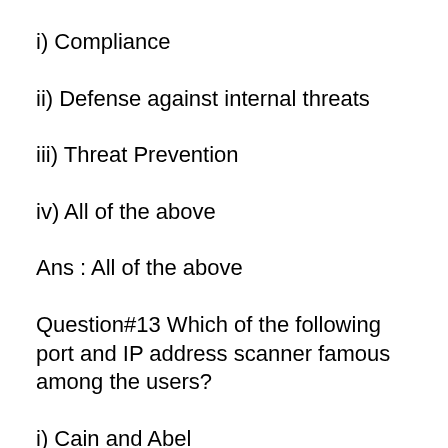i) Compliance
ii) Defense against internal threats
iii) Threat Prevention
iv) All of the above
Ans : All of the above
Question#13 Which of the following port and IP address scanner famous among the users?
i) Cain and Abel